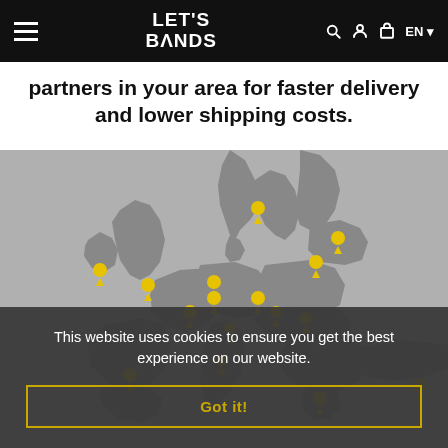LET'S BANDS
partners in your area for faster delivery and lower shipping costs.
[Figure (map): Map of Europe with yellow location pin markers showing Let's Bands partner locations across Ireland, UK, France, Belgium, Netherlands, Germany, Poland, Lithuania, Czech Republic, Austria, Hungary, Italy, Spain, Greece, and Turkey.]
This website uses cookies to ensure you get the best experience on our website.
Got it!